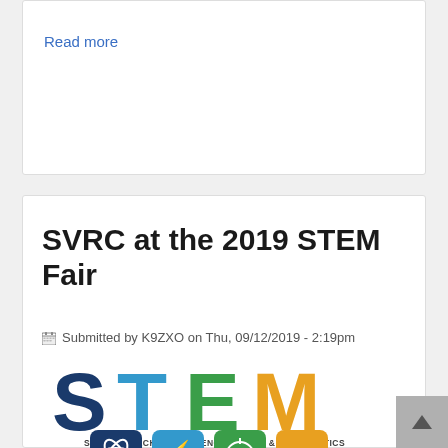Read more
SVRC at the 2019 STEM Fair
Submitted by K9ZXO on Thu, 09/12/2019 - 2:19pm
[Figure (logo): STEM logo with colorful letters S (dark blue), T (light blue), E (green), M (orange) and the subtitle SCIENCE, TECHNOLOGY, ENGINEERING & MATHEMATICS with four colored icon squares at the bottom]